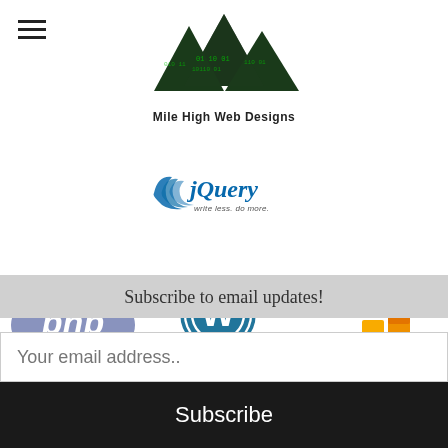[Figure (logo): Mile High Web Designs logo with mountain peaks made of green matrix-style characters and company name text below]
[Figure (logo): jQuery logo - blue swoosh with 'jQuery' text and tagline 'write less. do more.']
[Figure (logo): PHP logo - purple/blue ellipse with 'php' text]
[Figure (logo): WordPress logo - circular W icon with 'WordPress' text below]
[Figure (logo): Google Analytics logo - orange/yellow bar chart icon with 'Google Analytics' text]
[Figure (logo): Partial blue logo at bottom left, partially visible]
Subscribe to email updates!
Your email address..
Subscribe